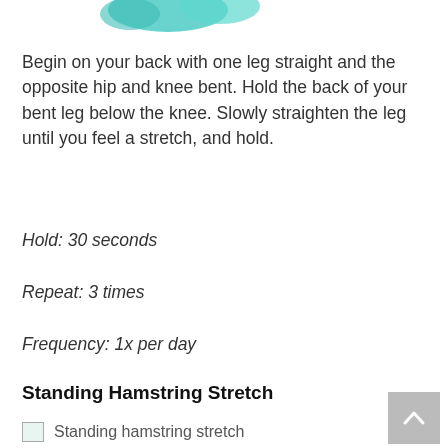[Figure (illustration): Partial view of a supine hamstring stretch illustration, cropped at top of page]
Begin on your back with one leg straight and the opposite hip and knee bent. Hold the back of your bent leg below the knee. Slowly straighten the leg until you feel a stretch, and hold.
Hold: 30 seconds
Repeat: 3 times
Frequency: 1x per day
Standing Hamstring Stretch
[Figure (illustration): Standing hamstring stretch image, partially visible at bottom of page]